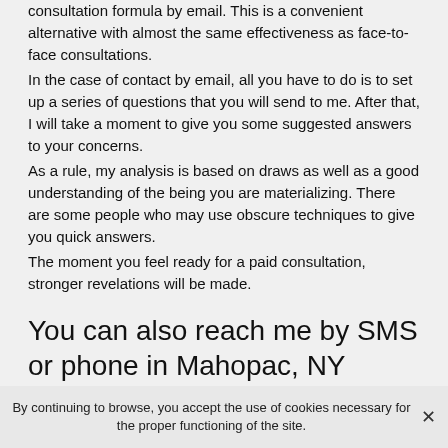consultation formula by email. This is a convenient alternative with almost the same effectiveness as face-to-face consultations.
In the case of contact by email, all you have to do is to set up a series of questions that you will send to me. After that, I will take a moment to give you some suggested answers to your concerns.
As a rule, my analysis is based on draws as well as a good understanding of the being you are materializing. There are some people who may use obscure techniques to give you quick answers.
The moment you feel ready for a paid consultation, stronger revelations will be made.
You can also reach me by SMS or phone in Mahopac, NY
I also offer...
By continuing to browse, you accept the use of cookies necessary for the proper functioning of the site.